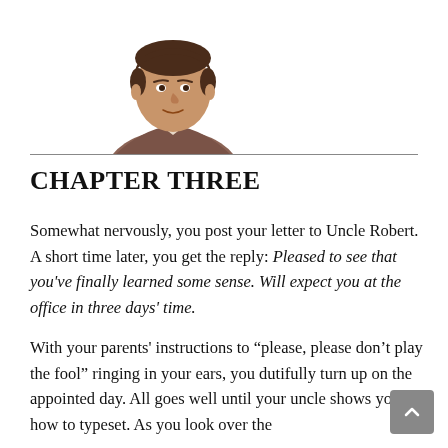[Figure (illustration): Illustrated portrait of a young man with dark hair, wearing a brown jacket with a light collar, shown from the shoulders up, positioned on the left side of the page header area.]
CHAPTER THREE
Somewhat nervously, you post your letter to Uncle Robert. A short time later, you get the reply: Pleased to see that you've finally learned some sense. Will expect you at the office in three days' time.
With your parents' instructions to “please, please don’t play the fool” ringing in your ears, you dutifully turn up on the appointed day. All goes well until your uncle shows you how to typeset. As you look over the